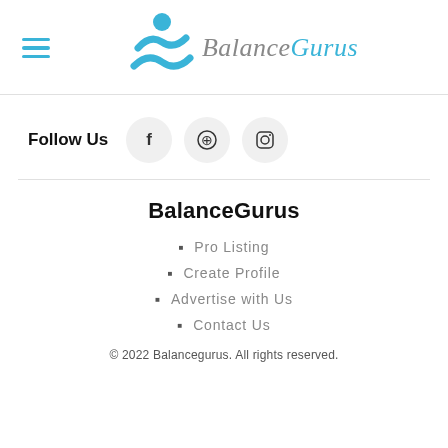[Figure (logo): BalanceGurus logo with cyan figure icon and stylized text]
Follow Us
[Figure (illustration): Social media icons: Facebook, Pinterest, Instagram in light grey circles]
BalanceGurus
Pro Listing
Create Profile
Advertise with Us
Contact Us
© 2022 Balancegurus. All rights reserved.